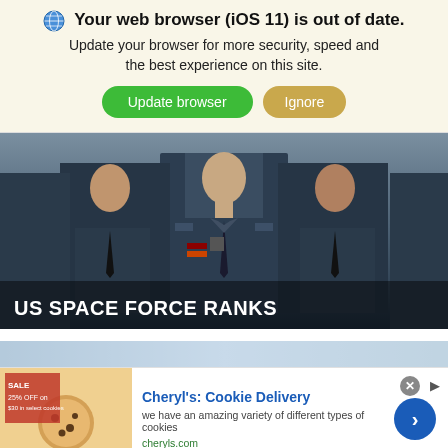Your web browser (iOS 11) is out of date. Update your browser for more security, speed and the best experience on this site.
Update browser | Ignore
[Figure (photo): Military personnel in dark blue uniforms with medals and insignia, partially visible from chest up, standing in formation. Text overlay reads 'US SPACE FORCE RANKS' with United States Space Force delta logo.]
[Figure (photo): Partial view of a second image showing a light blue sky background, partially visible at the bottom of the page.]
Cheryl's: Cookie Delivery
we have an amazing variety of different types of cookies
cheryls.com